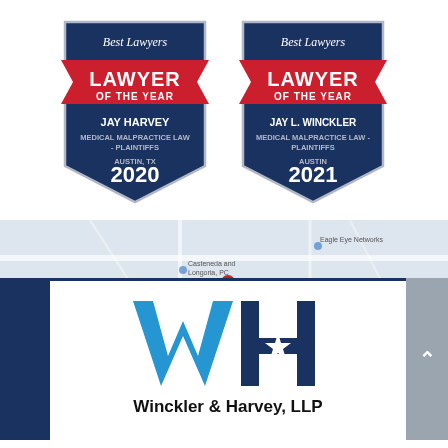[Figure (logo): Best Lawyers – Lawyer of the Year badge for Jay Harvey, Medical Malpractice Law – Plaintiffs, Austin, TX, 2020]
[Figure (logo): Best Lawyers – Lawyer of the Year badge for Jay L. Winckler, Medical Malpractice Law – Plaintiffs, Austin, 2021]
[Figure (screenshot): Screenshot of Winckler & Harvey, LLP Google Maps listing and website showing WH logo and firm name]